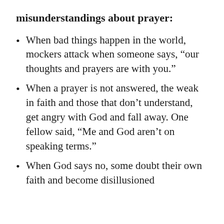misunderstandings about prayer:
When bad things happen in the world, mockers attack when someone says, “our thoughts and prayers are with you.”
When a prayer is not answered, the weak in faith and those that don’t understand, get angry with God and fall away. One fellow said, “Me and God aren’t on speaking terms.”
When God says no, some doubt their own faith and become disillusioned